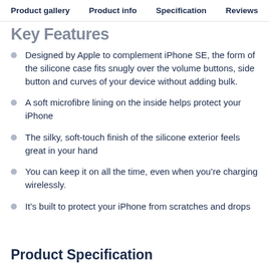Product gallery  Product info  Specification  Reviews
Key Features
Designed by Apple to complement iPhone SE, the form of the silicone case fits snugly over the volume buttons, side button and curves of your device without adding bulk.
A soft microfibre lining on the inside helps protect your iPhone
The silky, soft-touch finish of the silicone exterior feels great in your hand
You can keep it on all the time, even when you’re charging wirelessly.
It’s built to protect your iPhone from scratches and drops
Product Specification